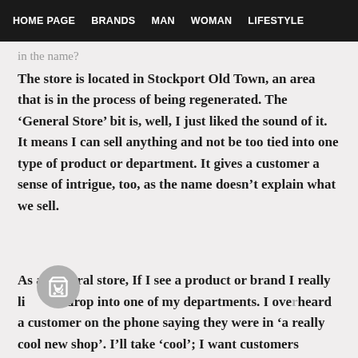HOME PAGE   BRANDS   MAN   WOMAN   LIFESTYLE
in the name?
The store is located in Stockport Old Town, an area that is in the process of being regenerated. The ‘General Store’ bit is, well, I just liked the sound of it. It means I can sell anything and not be too tied into one type of product or department. It gives a customer a sense of intrigue, too, as the name doesn’t explain what we sell.
As a general store, If I see a product or brand I really like, I’ll drop into one of my departments. I overheard a customer on the phone saying they were in ‘a really cool new shop’. I’ll take ‘cool’; I want customers